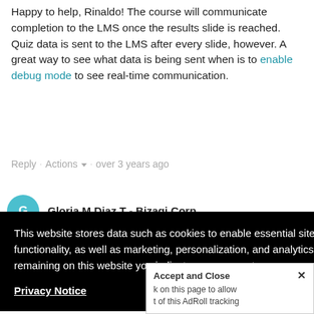Happy to help, Rinaldo! The course will communicate completion to the LMS once the results slide is reached. Quiz data is sent to the LMS after every slide, however. A great way to see what data is being sent when is to enable debug mode to see real-time communication.
Reply · Actions ▾ · over 3 years ago
Gloria M Diaz T - Bizagi Corp
This website stores data such as cookies to enable essential site functionality, as well as marketing, personalization, and analytics. By remaining on this website you indicate your consent.
Privacy Notice
Accept and Close ✕